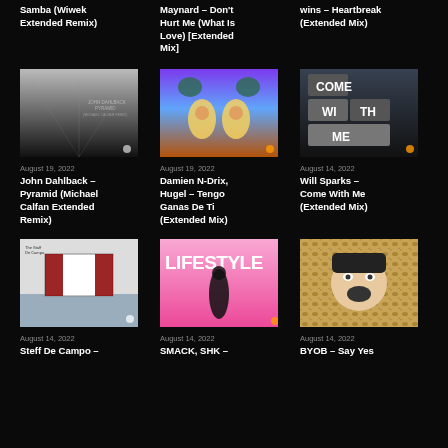Samba (Wiwek Extended Remix)
Maynard – Don't Hurt Me (What Is Love) [Extended Mix]
wins – Heartbreak (Extended Mix)
[Figure (photo): Album art for John Dahlback – Pyramid (Michael Calfan Extended Remix): grayscale road vanishing point]
[Figure (photo): Album art for Damien N-Drix, Hugel – Tengo Ganas De Ti: two men in margarita glasses on tropical beach]
[Figure (photo): Album art for Will Sparks – Come With Me: block letters spelling COME WITH ME]
August 19, 2022
August 19, 2022
August 14, 2022
John Dahlback – Pyramid (Michael Calfan Extended Remix)
Damien N-Drix, Hugel – Tengo Ganas De Ti (Extended Mix)
Will Sparks – Come With Me (Extended Mix)
[Figure (photo): Album art for Steff Da Campo: outdoor stage with red curtain, black and white]
[Figure (photo): Album art for SMACK SHK – Lifestyle: pink background with woman in black outfit]
[Figure (photo): Album art for BYOB – Say Yes: screaming man with leopard print border]
August 14, 2022
August 14, 2022
August 14, 2022
Steff De Campo –
SMACK, SHK –
BYOB – Say Yes